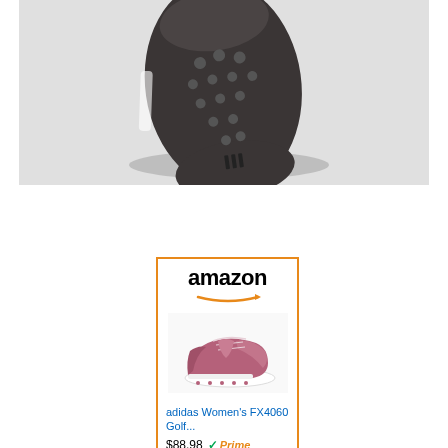[Figure (photo): Bottom sole of an Adidas golf shoe showing dark rubbery tread pattern with Adidas logo, photographed from below on light gray background]
[Figure (screenshot): Amazon product card with orange border showing Amazon logo with arrow, pink/mauve Adidas Women's FX4060 Golf shoe image, product title 'adidas Women's FX4060 Golf...' in blue link text, price $88.98 with Amazon Prime badge (green checkmark and orange Prime text)]